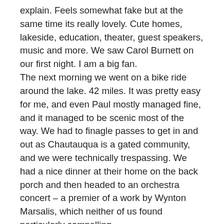explain. Feels somewhat fake but at the same time its really lovely. Cute homes, lakeside, education, theater, guest speakers, music and more. We saw Carol Burnett on our first night. I am a big fan. The next morning we went on a bike ride around the lake. 42 miles. It was pretty easy for me, and even Paul mostly managed fine, and it managed to be scenic most of the way. We had to finagle passes to get in and out as Chautauqua is a gated community, and we were technically trespassing. We had a nice dinner at their home on the back porch and then headed to an orchestra concert – a premier of a work by Wynton Marsalis, which neither of us found particularly compelling.
The next day we were off again and driving to Wisconsin. We stopped part way through the drive and did a hot run on the Wabash Cannonball Trail. We got super hungry because of running and so we had dinner outside of Chicago (in Skokie) at a tapas place we found on Yelp. Really good food and a